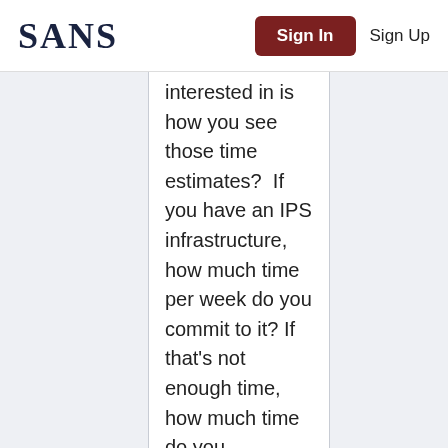SANS | Sign In | Sign Up
interested in is how you see those time estimates?  If you have an IPS infrastructure, how much time per week do you commit to it? If that's not enough time, how much time do you